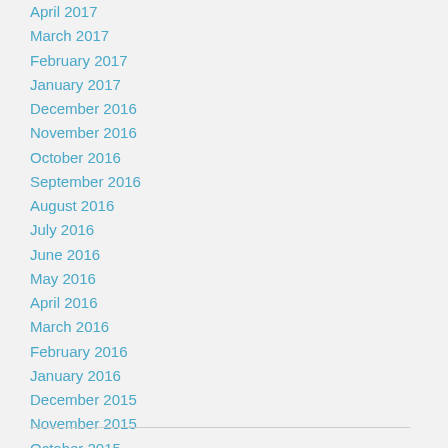April 2017
March 2017
February 2017
January 2017
December 2016
November 2016
October 2016
September 2016
August 2016
July 2016
June 2016
May 2016
April 2016
March 2016
February 2016
January 2016
December 2015
November 2015
October 2015
August 2015
July 2015
June 2015